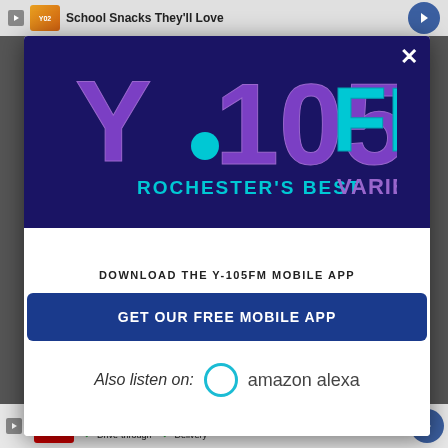[Figure (screenshot): Y.105FM mobile app download modal popup over a website background. The modal shows the Y.105FM Rochester's Best Variety logo on a dark blue/navy background at the top, followed by text 'DOWNLOAD THE Y-105FM MOBILE APP', a blue button 'GET OUR FREE MOBILE APP', and 'Also listen on: amazon alexa' text with Alexa ring icon. Background shows ad bars at top and bottom.]